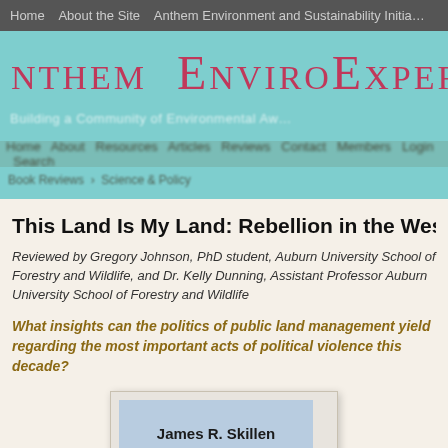Home   About the Site   Anthem Environment and Sustainability Initia...
[Figure (screenshot): Anthem EnviroExperts website banner with teal/cyan background, red small-caps logo text 'Anthem EnviroExperts' and subtitle 'Building a Community of Environmental Aw...' with blurred navigation links below]
This Land Is My Land: Rebellion in the West
Reviewed by Gregory Johnson, PhD student, Auburn University School of Forestry and Wildlife, and Dr. Kelly Dunning, Assistant Professor Auburn University School of Forestry and Wildlife
What insights can the politics of public land management yield regarding the most important acts of political violence this decade?
[Figure (photo): Book cover showing 'James R. Skillen' on a light blue background, partially visible, inside a light gray bordered frame]